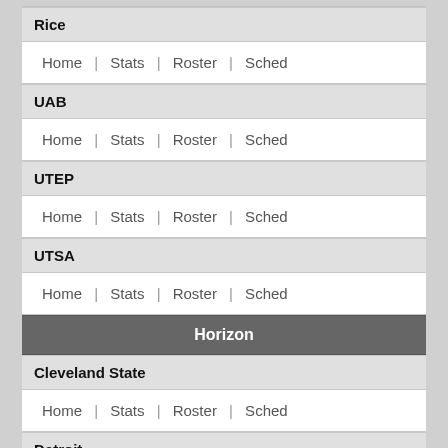Rice
Home  |  Stats  |  Roster  |  Sched
UAB
Home  |  Stats  |  Roster  |  Sched
UTEP
Home  |  Stats  |  Roster  |  Sched
UTSA
Home  |  Stats  |  Roster  |  Sched
Horizon
Cleveland State
Home  |  Stats  |  Roster  |  Sched
Detroit
Home  |  Stats  |  Roster  |  Sched